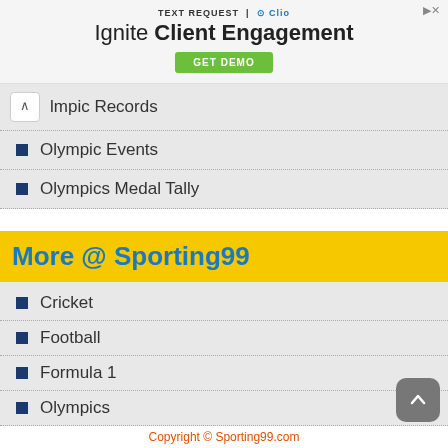[Figure (screenshot): Advertisement banner for Text Request and Clio: 'Ignite Client Engagement' with a GET DEMO button]
lmpic Records
Olympic Events
Olympics Medal Tally
More @ Sporting99
Cricket
Football
Formula 1
Olympics
Tennis
Copyright © Sporting99.com